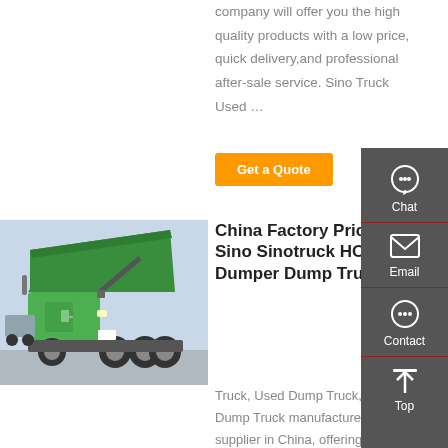company will offer you the high quality products with a low price, quick delivery,and professional after-sale service. Sino Truck Used …
Get a Quote
[Figure (photo): Green HOWO dump truck with raised bed, heavy-duty 8-wheel vehicle]
China Factory Price Sino Sinotruck HOWO Dumper Dump Truck
Truck, Used Dump Truck, Dump Truck manufacturer / supplier in China, offering Factory Price Sino Sinotruck HOWO Dumper